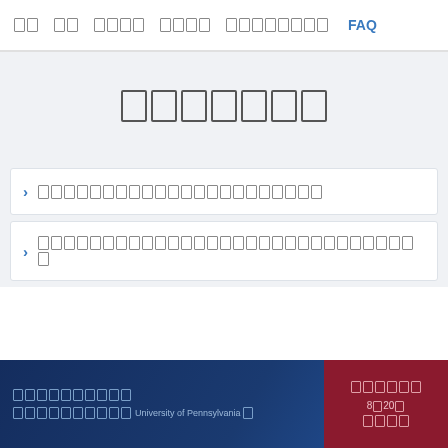[nav items with boxes] FAQ
[boxes representing CJK title characters]
[CJK text - FAQ item 1]
[CJK text - FAQ item 2]
[CJK text] University of Pennsylvania [CJK text] | [CJK text] 8[box]20[box] [CJK boxes]